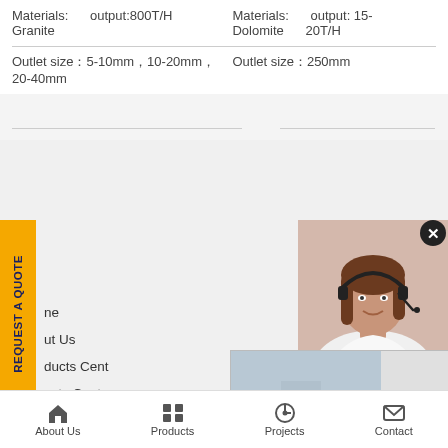Materials: Granite   output:800T/H
Materials: Dolomite   output: 15-20T/H
Outlet size：5-10mm，10-20mm，20-40mm
Outlet size：250mm
[Figure (photo): Live chat popup with workers in yellow hard hats, red LIVE CHAT text, Chat now and Chat later buttons]
[Figure (photo): Woman with headset on right sidebar for customer support]
have any requests, click here.
Quotation
Enquiry
drobilkalm@gmail.com
ne
ut Us
ducts Cent
ects Cente
tact Us
ects Center
ile Crushers
Fixed Stone Crushers
About Us   Products   Projects   Contact